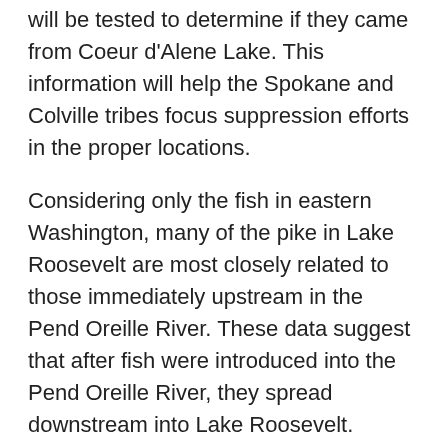will be tested to determine if they came from Coeur d'Alene Lake. This information will help the Spokane and Colville tribes focus suppression efforts in the proper locations.
Considering only the fish in eastern Washington, many of the pike in Lake Roosevelt are most closely related to those immediately upstream in the Pend Oreille River. These data suggest that after fish were introduced into the Pend Oreille River, they spread downstream into Lake Roosevelt. Biologists with the Colville and Spokane Tribes have documented active reproduction of pike in Lake Roosevelt. Consequently, Lake Roosevelt is being populated by both natural reproduction within the watershed and immigration from upstream waterbodies.
Illegal human introductions of pike have occurred in Idaho and Montana since the 1950s, and continue today. Dr. Carim and the Colville Confederated Tribes have